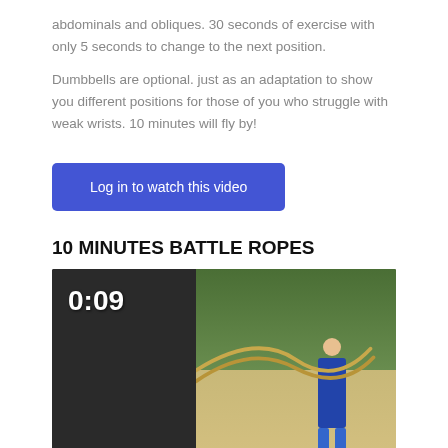abdominals and obliques. 30 seconds of exercise with only 5 seconds to change to the next position.
Dumbbells are optional. just as an adaptation to show you different positions for those of you who struggle with weak wrists. 10 minutes will fly by!
[Figure (other): Blue 'Log in to watch this video' button]
10 MINUTES BATTLE ROPES
[Figure (screenshot): Video thumbnail showing a person doing battle ropes exercise outdoors on sandy ground with trees in background. Timer shows 0:09 in top left corner.]